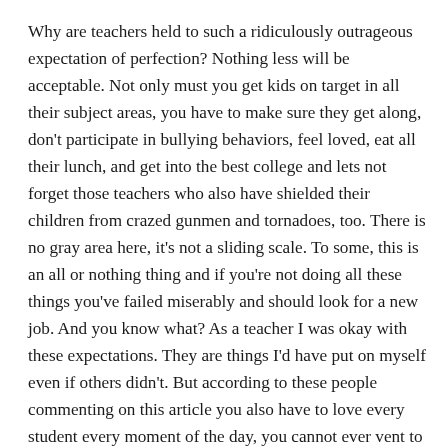Why are teachers held to such a ridiculously outrageous expectation of perfection? Nothing less will be acceptable. Not only must you get kids on target in all their subject areas, you have to make sure they get along, don't participate in bullying behaviors, feel loved, eat all their lunch, and get into the best college and lets not forget those teachers who also have shielded their children from crazed gunmen and tornadoes, too. There is no gray area here, it's not a sliding scale. To some, this is an all or nothing thing and if you're not doing all these things you've failed miserably and should look for a new job. And you know what? As a teacher I was okay with these expectations. They are things I'd have put on myself even if others didn't. But according to these people commenting on this article you also have to love every student every moment of the day, you cannot ever vent to others when you are frustrated, you may never have a bad day where you put in a movie for the kids, you must be filled with joy when you see students outside of school and on and on. So what? Are there no standards for who we entrust our